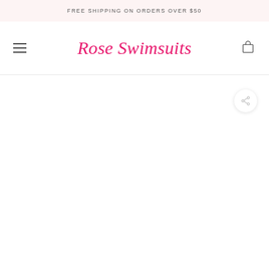FREE SHIPPING ON ORDERS OVER $50
[Figure (logo): Rose Swimsuits script logo in pink/magenta color]
[Figure (other): Share button icon (network share symbol) in a circular white card with shadow, positioned top-right of main content area]